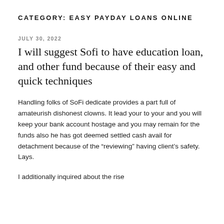CATEGORY: EASY PAYDAY LOANS ONLINE
JULY 30, 2022
I will suggest Sofi to have education loan, and other fund because of their easy and quick techniques
Handling folks of SoFi dedicate provides a part full of amateurish dishonest clowns. It lead your to your and you will keep your bank account hostage and you may remain for the funds also he has got deemed settled cash avail for detachment because of the “reviewing” having client’s safety. Lays.
I additionally inquired about the rise